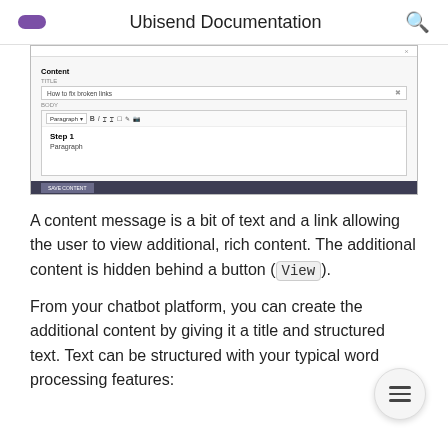Ubisend Documentation
[Figure (screenshot): Screenshot of a content editor UI showing fields for Content, title input reading 'How to fix broken links', body editor with toolbar and Step 1 / Paragraph content]
A content message is a bit of text and a link allowing the user to view additional, rich content. The additional content is hidden behind a button (View).
From your chatbot platform, you can create the additional content by giving it a title and structured text. Text can be structured with your typical word processing features: